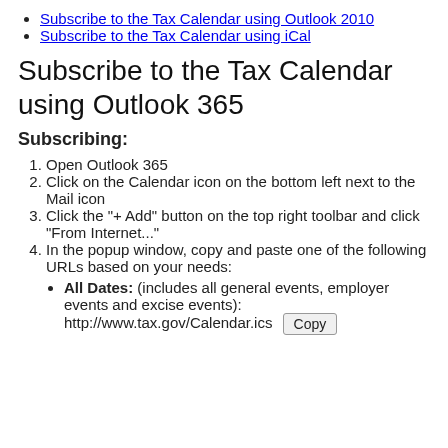Subscribe to the Tax Calendar using Outlook 2010
Subscribe to the Tax Calendar using iCal
Subscribe to the Tax Calendar using Outlook 365
Subscribing:
Open Outlook 365
Click on the Calendar icon on the bottom left next to the Mail icon
Click the "+ Add" button on the top right toolbar and click "From Internet..."
In the popup window, copy and paste one of the following URLs based on your needs:
All Dates: (includes all general events, employer events and excise events): http://www.tax.gov/Calendar.ics